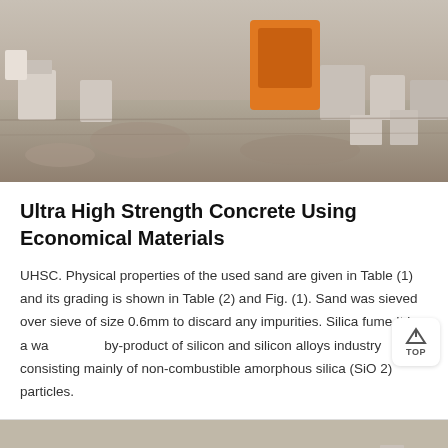[Figure (photo): Construction site photo showing concrete/sand materials, workers area with orange equipment visible, black and white tones with some color elements]
Ultra High Strength Concrete Using Economical Materials
UHSC. Physical properties of the used sand are given in Table (1) and its grading is shown in Table (2) and Fig. (1). Sand was sieved over sieve of size 0.6mm to discard any impurities. Silica fume It is a waste by-product of silicon and silicon alloys industry consisting mainly of non-combustible amorphous silica (SiO 2) particles.
[Figure (photo): Bottom partial image showing construction scene, with orange Message button and red Online Chat button overlay with customer service agent photo]